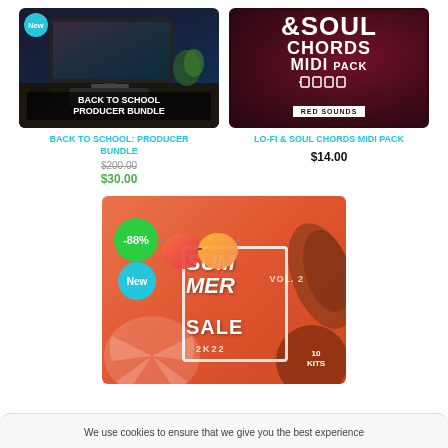[Figure (photo): Product image: Back to School Producer Bundle with 'New' badge, showing music production setup]
[Figure (photo): Product image: Lo-Fi & Soul Chords MIDI Pack by Red Sounds, dark red background]
BACK TO SCHOOL: PRODUCER BUNDLE
$200.00
$30.00
LO-FI & SOUL CHORDS MIDI PACK
$14.00
[Figure (photo): Product image: Summer Sale Vol. 2 2K22 bundle with -88% and New badges, orange background, sunglasses and tropical leaf]
We use cookies to ensure that we give you the best experience